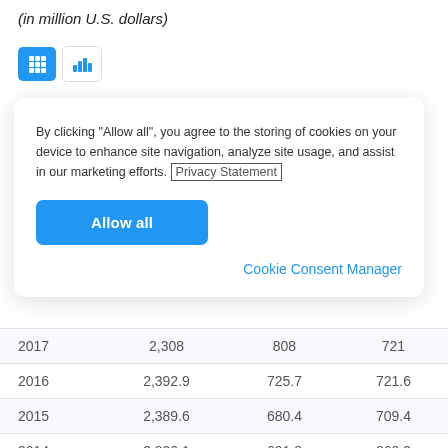(in million U.S. dollars)
[Figure (screenshot): Cookie consent overlay with Allow all button and Cookie Consent Manager link]
| Year | Col1 | Col2 | Col3 |
| --- | --- | --- | --- |
| 2017 | 2,308 | 808 | 721 |
| 2016 | 2,392.9 | 725.7 | 721.6 |
| 2015 | 2,389.6 | 680.4 | 709.4 |
| 2014 | 2,826.1 | 691.8 | 860.3 |
| 2013 | 3,177.2 | 599.5 | 954.2 |